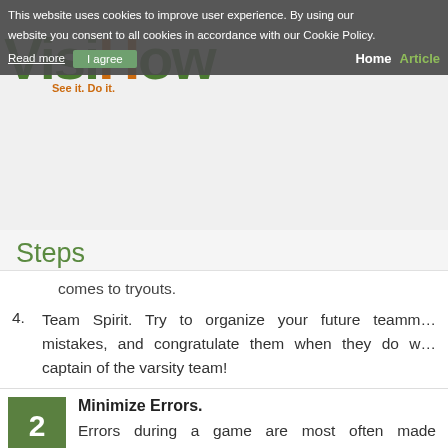This website uses cookies to improve user experience. By using our website you consent to all cookies in accordance with our Cookie Policy. Read more | I agree | Home | Articles
[Figure (logo): VisiHow logo with orange 'H' and tagline 'See it. Do it.']
Steps
comes to tryouts.
4. Team Spirit. Try to organize your future teammates, encourage them when they make mistakes, and congratulate them when they do well. You might even become captain of the varsity team!
2 Minimize Errors.
Errors during a game are most often made because Therefore, believe you in yourself and trust yourself score more points.